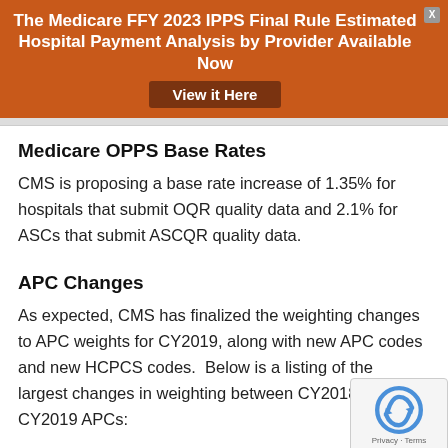The Medicare FFY 2023 IPPS Final Rule Estimated Hospital Payment Analysis by Provider Available Now View it Here
Medicare OPPS Base Rates
CMS is proposing a base rate increase of 1.35% for hospitals that submit OQR quality data and 2.1% for ASCs that submit ASCQR quality data.
APC Changes
As expected, CMS has finalized the weighting changes to APC weights for CY2019, along with new APC codes and new HCPCS codes.  Below is a listing of the largest changes in weighting between CY2018 and CY2019 APCs: